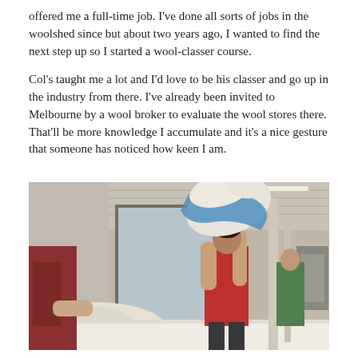offered me a full-time job. I've done all sorts of jobs in the woolshed since but about two years ago, I wanted to find the next step up so I started a wool-classer course.
Col's taught me a lot and I'd love to be his classer and go up in the industry from there. I've already been invited to Melbourne by a wool broker to evaluate the wool stores there. That'll be more knowledge I accumulate and it's a nice gesture that someone has noticed how keen I am.
[Figure (photo): A young woman in a red sleeveless top works in a woolshed, tossing a large bundle of wool fleece from a blue bag onto a skirting table. Another person is visible on the left side bending over the table. A third person in green can be seen in the background. The woolshed interior shows a corrugated metal roof, large open doorway, and wool-processing equipment.]